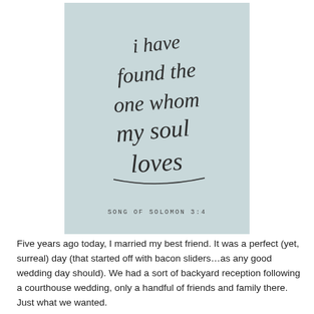[Figure (illustration): Light blue/grey background card with hand-lettered calligraphy text reading 'i have found the one whom my soul loves' and below it 'SONG OF SOLOMON 3:4' in small spaced caps.]
Five years ago today, I married my best friend. It was a perfect (yet, surreal) day (that started off with bacon sliders…as any good wedding day should). We had a sort of backyard reception following a courthouse wedding, only a handful of friends and family there. Just what we wanted.